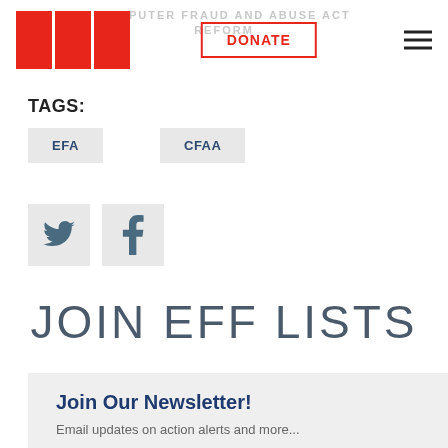COMPUTER FRAUD AND ABUSE ACT REFORM
[Figure (logo): EFF logo - three red vertical bars]
DONATE
TAGS:
EFA
CFAA
[Figure (illustration): Twitter and Facebook social share icon buttons]
JOIN EFF LISTS
Join Our Newsletter!
Email updates on action alerts and more...